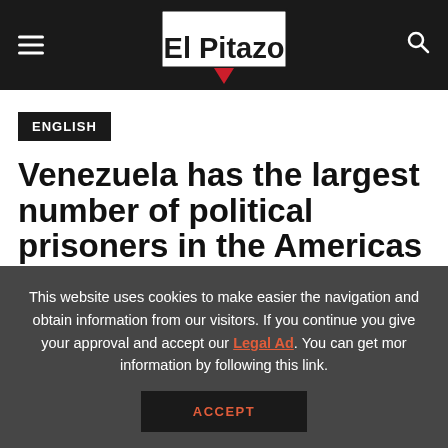El Pitazo
ENGLISH
Venezuela has the largest number of political prisoners in the Americas
This website uses cookies to make easier the navigation and obtain information from our visitors. If you continue you give your approval and accept our Legal Ad. You can get mor information by following this link.
ACCEPT